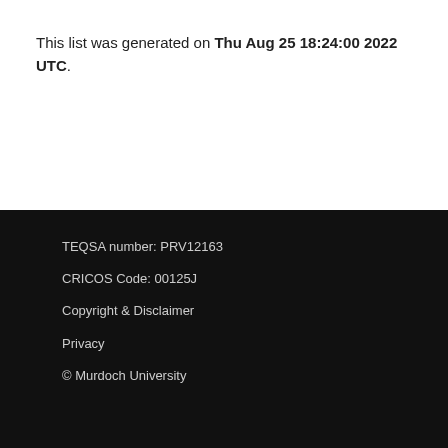This list was generated on Thu Aug 25 18:24:00 2022 UTC.
TEQSA number: PRV12163
CRICOS Code: 00125J
Copyright & Disclaimer
Privacy
© Murdoch University